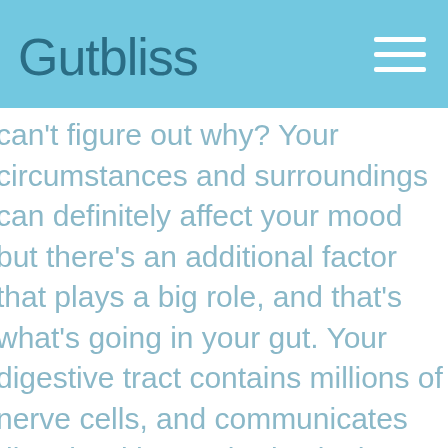Gutbliss
can't figure out why? Your circumstances and surroundings can definitely affect your mood but there's an additional factor that plays a big role, and that's what's going in your gut. Your digestive tract contains millions of nerve cells, and communicates directly with your brain via the vagus nerve. That communication is a two way street: your brain influences the motility of your gut, secretion of digestive enzymes, nutrient delivery, and helps stabilize the community of bacteria that call your gut home. Your gut plays an equally important role: many of the neurotransmitters that control your